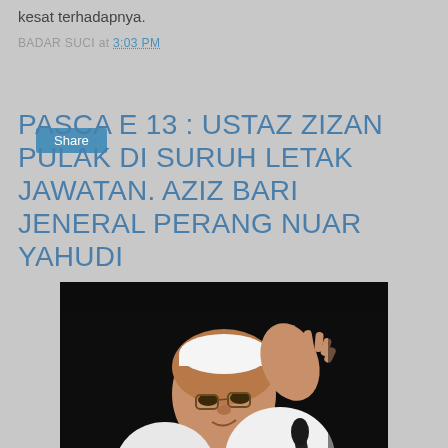kesat terhadapnya.
BADAR SUCI at 3:03 PM
Share
PASCA E 13 : USTAZ ZIZAN PULAK DI SURUH LETAK JAWATAN. AZIZ BARI JENERAL PERANG NUAR YAHUDI
[Figure (photo): Elderly man in white skullcap and glasses speaking at a microphone, raising his right hand, against a dark background.]